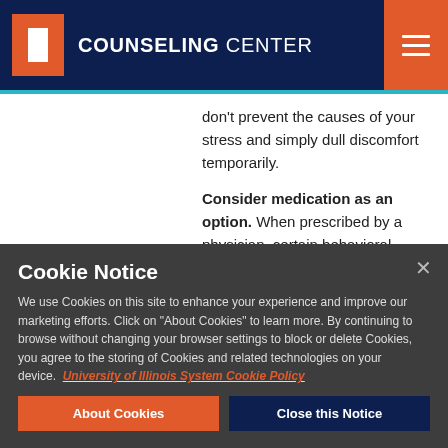COUNSELING CENTER
don't prevent the causes of your stress and simply dull discomfort temporarily.
Consider medication as an option. When prescribed by a physician, certain behavioral medications can help you moderate your anxiety while
Cookie Notice
We use Cookies on this site to enhance your experience and improve our marketing efforts. Click on "About Cookies" to learn more. By continuing to browse without changing your browser settings to block or delete Cookies, you agree to the storing of Cookies and related technologies on your device. University of Illinois System Cookie Policy